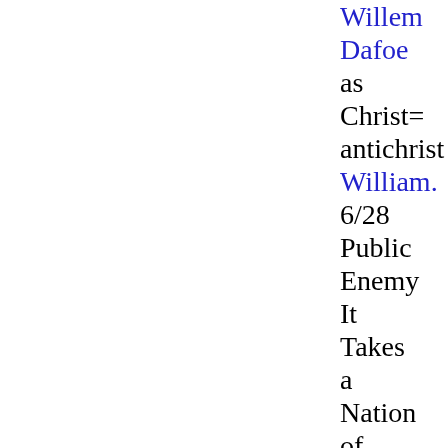Willem Dafoe as Christ=antichrist William. 6/28 Public Enemy It Takes a Nation of Millions the